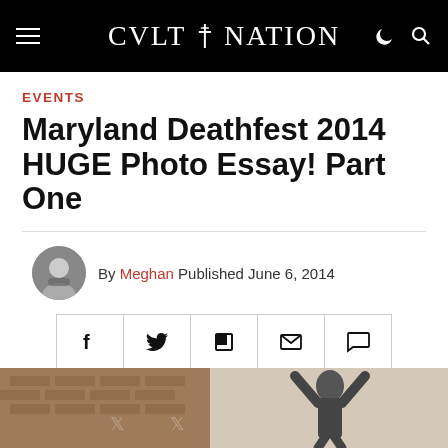CVLT Nation
EVENTS
Maryland Deathfest 2014 HUGE Photo Essay! Part One
By Meghan Published June 6, 2014
[Figure (photo): Outdoor concert/festival photo showing a person with arms raised against a brick building background]
[Figure (screenshot): Social share buttons row: Facebook, Twitter, Flipboard, Email, Comment]